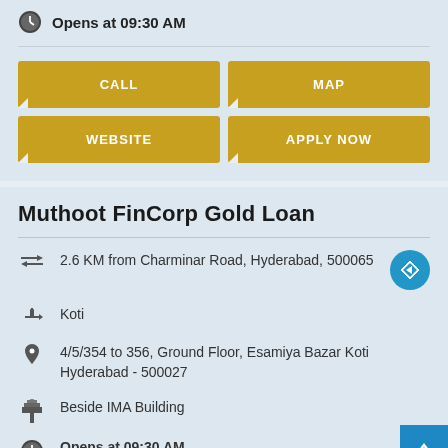Opens at 09:30 AM
[Figure (screenshot): Four golden action buttons: CALL, MAP, WEBSITE, APPLY NOW]
Muthoot FinCorp Gold Loan
2.6 KM from Charminar Road, Hyderabad, 500065
Koti
4/5/354 to 356, Ground Floor, Esamiya Bazar Koti
Hyderabad - 500027
Beside IMA Building
Opens at 09:30 AM